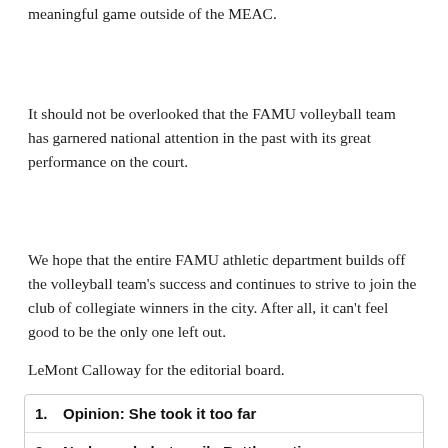meaningful game outside of the MEAC.
It should not be overlooked that the FAMU volleyball team has garnered national attention in the past with its great performance on the court.
We hope that the entire FAMU athletic department builds off the volleyball team’s success and continues to strive to join the club of collegiate winners in the city. After all, it can’t feel good to be the only one left out.
LeMont Calloway for the editorial board.
1. Opinion: She took it too far
2. Nude grad photo roils Rattler nation
3. Women’s Edition: Special E–edition